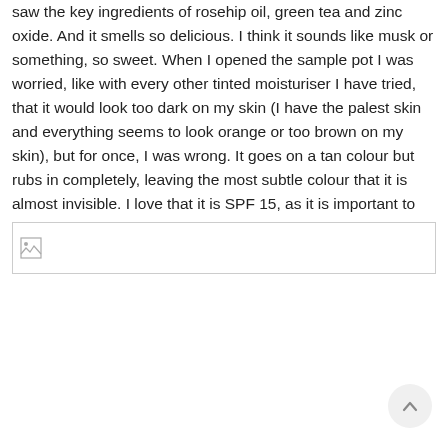saw the key ingredients of rosehip oil, green tea and zinc oxide. And it smells so delicious. I think it sounds like musk or something, so sweet. When I opened the sample pot I was worried, like with every other tinted moisturiser I have tried, that it would look too dark on my skin (I have the palest skin and everything seems to look orange or too brown on my skin), but for once, I was wrong. It goes on a tan colour but rubs in completely, leaving the most subtle colour that it is almost invisible. I love that it is SPF 15, as it is important to protect your skin from the sun (after you have gotten your daily dose of Vitamin D).
[Figure (photo): A broken/missing image placeholder shown as a small icon with a torn-page symbol inside a rectangular border.]